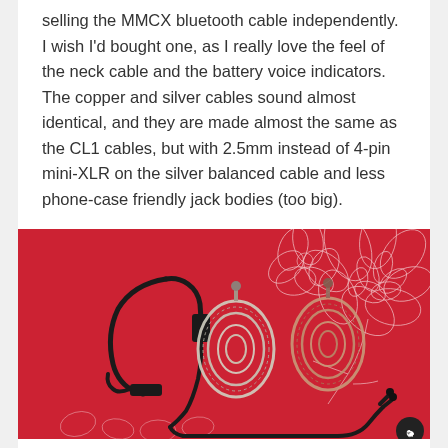selling the MMCX bluetooth cable independently. I wish I'd bought one, as I really love the feel of the neck cable and the battery voice indicators. The copper and silver cables sound almost identical, and they are made almost the same as the CL1 cables, but with 2.5mm instead of 4-pin mini-XLR on the silver balanced cable and less phone-case friendly jack bodies (too big).
[Figure (photo): Photo on red background showing three audio cables: a black bluetooth neckband cable on the left, a coiled silver/braided cable in the center, a coiled copper/braided cable on the right, and a black cable with two connectors on the far right. A small logo appears in the bottom right corner.]